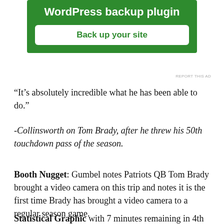[Figure (other): Green advertisement banner for WordPress backup plugin with white 'Back up your site' button]
REPORT THIS AD
“It’s absolutely incredible what he has been able to do.”
-Collinsworth on Tom Brady, after he threw his 50th touchdown pass of the season.
Booth Nugget: Gumbel notes Patriots QB Tom Brady brought a video camera on this trip and notes it is the first time Brady has brought a video camera to a regular season game.
Statistical Graphic with 7 minutes remaining in 4th